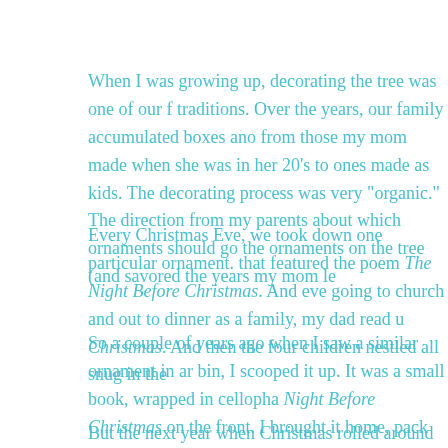When I was growing up, decorating the tree was one of our family traditions. Over the years, our family accumulated boxes and boxes from those my mom made when she was in her 20's to ones we made as kids. The decorating process was very "organic." The direction from my parents about which ornaments should go where the ornaments on the tree (and savored the years my mom le...
Every Christmas Eve, we took down one particular ornament. that featured the poem The Night Before Christmas. And eve going to church and out to dinner as a family, my dad read u Christmas. And then the four children nestled all snug in the...
So a couple of years ago when I saw a similar ornament in a bin, I scooped it up. It was a small book, wrapped in cellopha Night Before Christmas on the front. I brought it home, pack other ornaments, and was excited to use it to continue the tr children.
But the next year when Christmas rolled around and I finally...